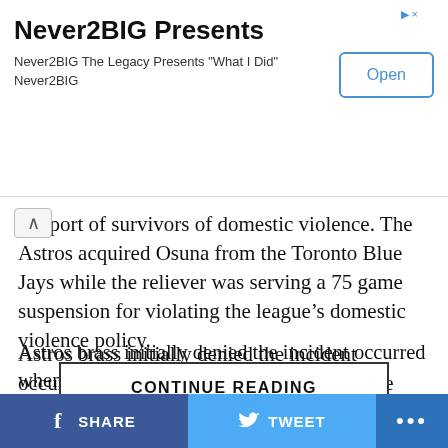[Figure (screenshot): Advertisement banner for Never2BIG app with Open button]
...pport of survivors of domestic violence. The Astros acquired Osuna from the Toronto Blue Jays while the reliever was serving a 75 game suspension for violating the league's domestic violence policy.
Astros brass initially denied the incident occurred when Sports Illustrated's Stephanie Apstein reported that it happened. The organization even went so far as to say Apstein made the incident up. It didn't take long for other reporters to corroborate the SI story...
CONTINUE READING
ADVERTISEMENT
SHARE   TWEET   ...